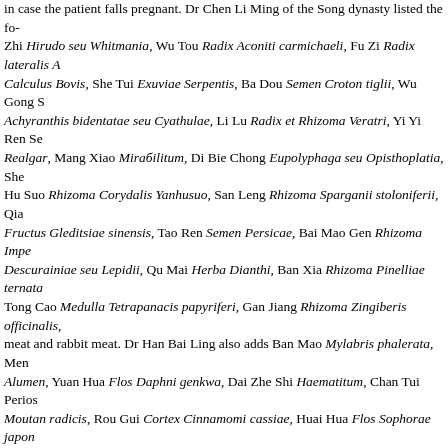in case the patient falls pregnant. Dr Chen Li Ming of the Song dynasty listed the following: Shui Zhi Hirudo seu Whitmania, Wu Tou Radix Aconiti carmichaeli, Fu Zi Radix lateralis Aconiti carmichaeli, Calculus Bovis, She Tui Exuviae Serpentis, Ba Dou Semen Croton tiglii, Wu Gong Scolopendra, Huai Niu Xi Radix Achyranthis bidentatae seu Cyathulae, Li Lu Radix et Rhizoma Veratri, Yi Yi Ren Semen Coicis, Xiong Huang Realgar, Mang Xiao Mirabilitum, Di Bie Chong Eupolyphaga seu Opisthoplatia, She Xiang Moschus, Yan Hu Suo Rhizoma Corydalis Yanhusuo, San Leng Rhizoma Sparganii stoloniferii, Qian Niu Zi Semen Pharbitidis, Zao Jiao Ci Fructus Gleditsiae sinensis, Tao Ren Semen Persicae, Bai Mao Gen Rhizoma Imperatae, Ting Li Zi Semen Descurainiae seu Lepidii, Qu Mai Herba Dianthi, Ban Xia Rhizoma Pinelliae ternatae, Tong Cao Medulla Tetrapanacis papyriferi, Gan Jiang Rhizoma Zingiberis officinalis, as well as crab meat and rabbit meat. Dr Han Bai Ling also adds Ban Mao Mylabris phalerata, Meng Shi Lapis Chloritisatum, Ming Alumen, Yuan Hua Flos Daphni genkwa, Dai Zhe Shi Haematitum, Chan Tui Periostracum Cicadae, Mu Dan Pi Cortex Moutan radicis, Rou Gui Cortex Cinnamomi cassiae, Huai Hua Flos Sophorae japonicae and Huai Zi Semen Sophorae japonicae.lxxiii In any case, one should avoid remedies that might cause miscarriage. The Women=s Treasure formulae contraindicated in pregnancy are: Clear Empty Heat and Nourish the Blood Clear the Palace Drain the Jade Valley Drain Redness Free Flow Free-Flowing Sea Freeing the Channels Move the Flow Penetrating Vessel Stir Field of Elixir Warm the Mansion Warm the Menses The following Three Treasures remedies are contraindicated in pregnancy: Break into a Smile Clear the Palace Move the Blood Stirring Release Constraint Separate Clear and Turbid Stir Field of Elixir Incidentally, herbs contraindicated in the West are Berberis vulgaris, , Caulophyllum thalictroides, Chelidonium majus, Colchichum autumnale, Juniperus communis, Phytolacca americana, Podophyllum peltatum and Thuja occidentalis. As for breast-feeding, the alveoli of the breast are surrounded by a network of fine blood vessels. Small molecules may pass into breast milk. This happens more easily in the case of lipid-soluble compounds (which herbs usually are), so that breast-fed babies receive small doses of whatever drugs or herbs the mother is taking. In most cases, the dose of drug or herbs that passes into the milk is too small to have any significant effect on the baby. Herbs that should not be given to breast-feeding mothers: these include moving-downwards herbs such as Da Huang Rhizoma Rhei (none of the Three Treasures or Women=s Treasure remedies contains this herb).